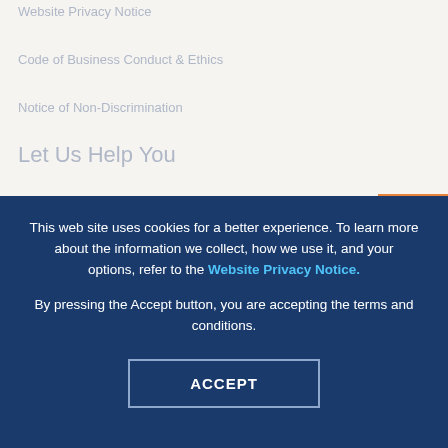Website Privacy Notice
Code of Business Conduct & Ethics
Notice of Non-Discrimination
Let Us Help You
This web site uses cookies for a better experience. To learn more about the information we collect, how we use it, and your options, refer to the Website Privacy Notice.
By pressing the Accept button, you are accepting the terms and conditions.
ACCEPT